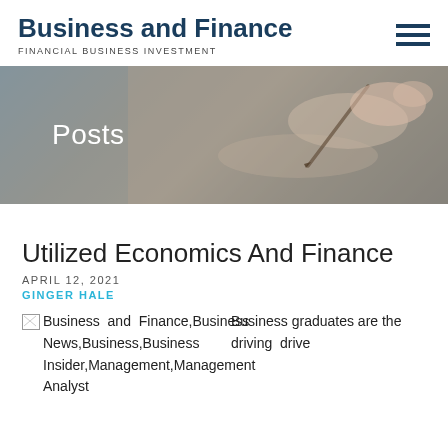Business and Finance
FINANCIAL BUSINESS INVESTMENT
[Figure (photo): Banner image showing a hand writing with a pen on paper, with a semi-transparent dark overlay and the word 'Posts' in white text on the left.]
Utilized Economics And Finance
APRIL 12, 2021
GINGER HALE
[Figure (photo): Broken image placeholder with alt text: Business and Finance,Business News,Business,Business Insider,Management,Management Analyst]
Business graduates are the driving drive